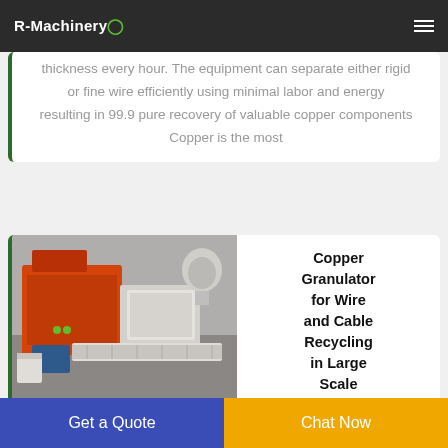R-Machinery
thickness every hour. The equipment can separate either rigid or fine wire efficiently using minimal labor and energy resulting in 99.9 pure recovery of valuable copper components Copper is the most
[Figure (photo): Photo of a large orange and grey copper granulator machine for wire and cable recycling in an industrial setting]
Copper Granulator for Wire and Cable Recycling in Large Scale
Get a Quote  |  Chat Now